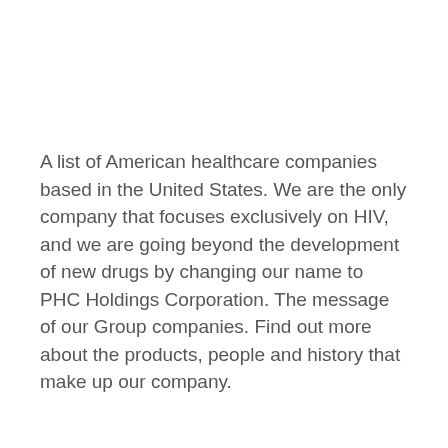A list of American healthcare companies based in the United States. We are the only company that focuses exclusively on HIV, and we are going beyond the development of new drugs by changing our name to PHC Holdings Corporation. The message of our Group companies. Find out more about the products, people and history that make up our company.